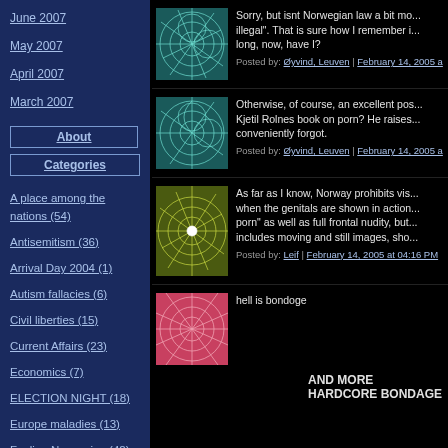June 2007
May 2007
April 2007
March 2007
About
Categories
A place among the nations (54)
Antisemitism (36)
Arrival Day 2004 (1)
Autism fallacies (6)
Civil liberties (15)
Current Affairs (23)
Economics (7)
ELECTION NIGHT (18)
Europe maladies (13)
Feeling Norwegian (42)
[Figure (illustration): Teal/green geometric web pattern avatar]
Sorry, but isnt Norwegian law a bit mo... illegal". That is sure how I remember i... long, now, have I?
Posted by: Øyvind, Leuven | February 14, 2005 a
[Figure (illustration): Teal/green geometric web pattern avatar]
Otherwise, of course, an excellent pos... Kjetil Rolnes book on porn? He raises... conveniently forgot.
Posted by: Øyvind, Leuven | February 14, 2005 a
[Figure (illustration): Olive/yellow-green geometric web pattern avatar]
As far as I know, Norway prohibits vis... when the genitals are shown in action... porn" as well as full frontal nudity, but... includes moving and still images, sho...
Posted by: Leif | February 14, 2005 at 04:16 PM
[Figure (illustration): Pink/red geometric web pattern avatar]
hell is bondoge
AND MORE HARDCORE BONDAGE